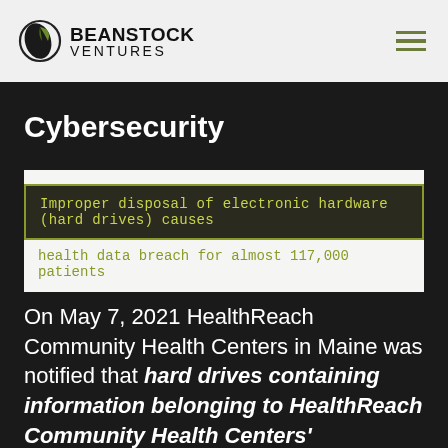BeanStock Ventures
Cybersecurity
Improper disposal of electronic hardware (hard drives) causes health data breach for almost 117,000 patients
On May 7, 2021 HealthReach Community Health Centers in Maine was notified that hard drives containing information belonging to HealthReach Community Health Centers'